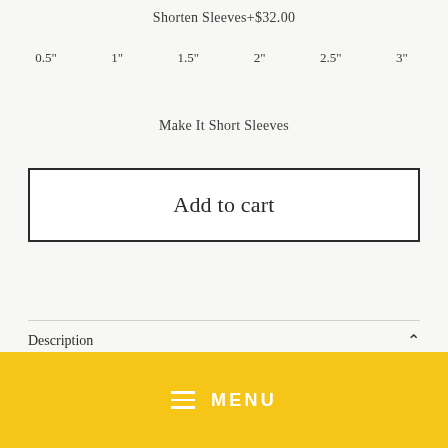Shorten Sleeves+$32.00
0.5"  1"  1.5"  2"  2.5"  3"
Make It Short Sleeves
Add to cart
Description
[Figure (other): Yellow menu bar with hamburger icon and MENU text]
what make it one of our favourites, importantly it's a naturally heat regulating material, meaning that even on the hottest days a linen shirt